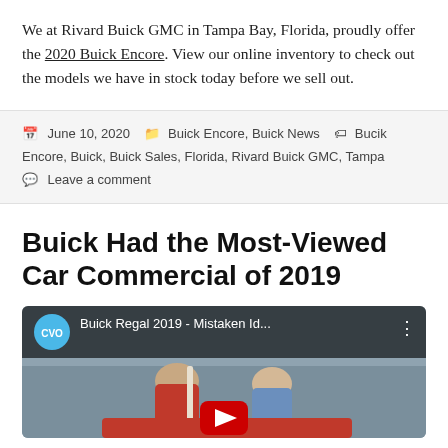We at Rivard Buick GMC in Tampa Bay, Florida, proudly offer the 2020 Buick Encore. View our online inventory to check out the models we have in stock today before we sell out.
June 10, 2020 | Buick Encore, Buick News | Bucik Encore, Buick, Buick Sales, Florida, Rivard Buick GMC, Tampa | Leave a comment
Buick Had the Most-Viewed Car Commercial of 2019
[Figure (screenshot): YouTube video thumbnail showing 'Buick Regal 2019 - Mistaken Id...' with CVO channel logo and two women near a red car]